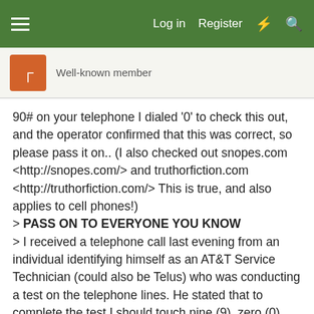Log in  Register
Well-known member
90# on your telephone I dialed '0' to check this out, and the operator confirmed that this was correct, so please pass it on.. (I also checked out snopes.com <http://snopes.com/> and truthorfiction.com <http://truthorfiction.com/> This is true, and also applies to cell phones!)
> PASS ON TO EVERYONE YOU KNOW
> I received a telephone call last evening from an individual identifying himself as an AT&T Service Technician (could also be Telus) who was conducting a test on the telephone lines. He stated that to complete the test I should touch nine (9), zero (0), the pound sign (#), and then hang up.
> Luckily, I was suspicious and refused. Upon contacting the telephone company, I was informed that